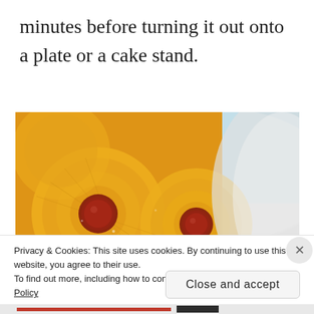minutes before turning it out onto a plate or a cake stand.
[Figure (photo): Close-up photo of a pineapple upside-down cake on a white plate, showing golden caramelized pineapple rings with maraschino cherries in the centers. A blue object is partially visible in the upper right background.]
Privacy & Cookies: This site uses cookies. By continuing to use this website, you agree to their use.
To find out more, including how to control cookies, see here: Cookie Policy
Close and accept